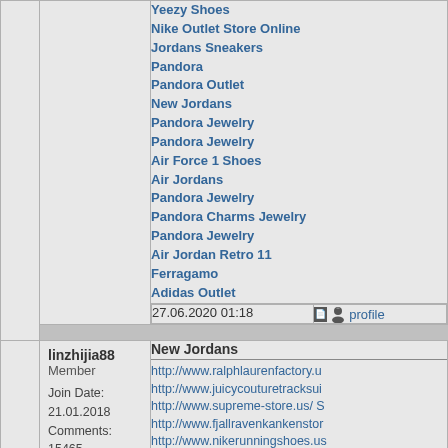Yeezy Shoes
Nike Outlet Store Online
Jordans Sneakers
Pandora
Pandora Outlet
New Jordans
Pandora Jewelry
Pandora Jewelry
Air Force 1 Shoes
Air Jordans
Pandora Jewelry
Pandora Charms Jewelry
Pandora Jewelry
Air Jordan Retro 11
Ferragamo
Adidas Outlet
27.06.2020 01:18
profile
linzhijia88
Member
Join Date: 21.01.2018
Comments: 15465
New Jordans
http://www.ralphlaurenfactory.u
http://www.juicycouturetracksuit
http://www.supreme-store.us/ S
http://www.fjallravenkankenstor
http://www.nikerunningshoes.us
http://www.calvinkleindresseson
http://www.stevemaddens.us/ S
http://www.ecco-sandals.us/ Ec
http://www.vibramfivefingers.ca
http://www.asics.us.org/ Asics T
http://www.jimmy-choo.us.org/ J
http://www.redbottomsshoes.us
http://www.hollister-canada.ca/
http://www.vanss.us/ Vans
http://www.nikefactoryonline.us
http://www.lacostecanada.ca/ L